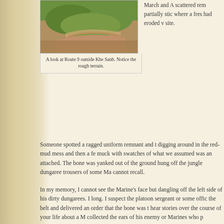[Figure (photo): Aerial or elevated view of Route 9 outside Khe Sanh showing rough terrain with red mud, vegetation, and a winding path or road.]
A look at Route 9 outside Khe Sanh. Notice the rough terrain.
March and A scattered rem partially stic where a fres had eroded v site.
Someone spotted a ragged uniform remnant and t digging around in the red-mud mess and then a fe muck with swatches of what we assumed was an attached. The bone was yanked out of the ground hung off the jungle dungaree trousers of some Ma cannot recall.
In my memory, I cannot see the Marine's face but dangling off the left side of his dirty dungarees. I long. I suspect the platoon sergeant or some offic the belt and delivered an order that the bone was t hear stories over the course of your life about a M collected the ears of his enemy or Marines who p